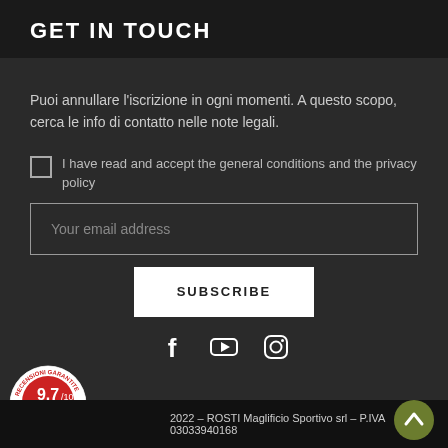GET IN TOUCH
Puoi annullare l'iscrizione in ogni momenti. A questo scopo, cerca le info di contatto nelle note legali.
I have read and accept the general conditions and the privacy policy
Your email address
SUBSCRIBE
[Figure (illustration): Social media icons: Facebook, YouTube, Instagram]
[Figure (logo): Recensioni Garantite badge showing 9.7/10, 36 ratings, with Italian flag emblem]
2022 - ROSTI Maglificio Sportivo srl - P.IVA 03033940168